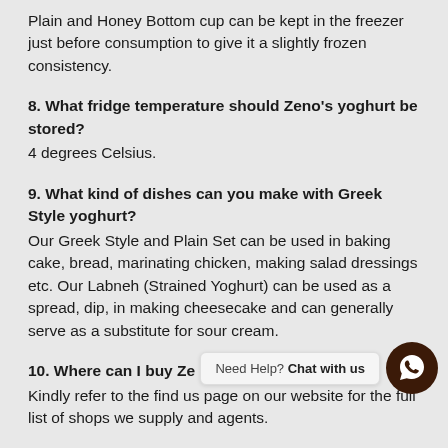Plain and Honey Bottom cup can be kept in the freezer just before consumption to give it a slightly frozen consistency.
8. What fridge temperature should Zeno's yoghurt be stored?
4 degrees Celsius.
9. What kind of dishes can you make with Greek Style yoghurt?
Our Greek Style and Plain Set can be used in baking cake, bread, marinating chicken, making salad dressings etc. Our Labneh (Strained Yoghurt) can be used as a spread, dip, in making cheesecake and can generally serve as a substitute for sour cream.
10. Where can I buy Zeno's yoghurt products?
Kindly refer to the find us page on our website for the full list of shops we supply and agents.